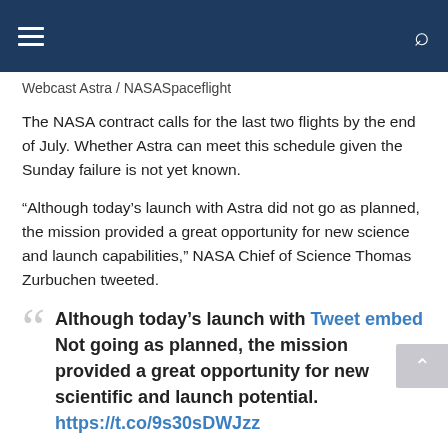Webcast Astra / NASASpaceflight
The NASA contract calls for the last two flights by the end of July. Whether Astra can meet this schedule given the Sunday failure is not yet known.
“Although today’s launch with Astra did not go as planned, the mission provided a great opportunity for new science and launch capabilities,” NASA Chief of Science Thomas Zurbuchen tweeted.
Although today’s launch with Tweet embed Not going as planned, the mission provided a great opportunity for new scientific and launch potential. https://t.co/9s30sDWJzz